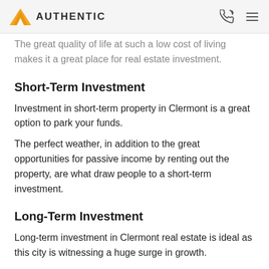AUTHENTIC
The great quality of life at such a low cost of living makes it a great place for real estate investment.
Short-Term Investment
Investment in short-term property in Clermont is a great option to park your funds.
The perfect weather, in addition to the great opportunities for passive income by renting out the property, are what draw people to a short-term investment.
Long-Term Investment
Long-term investment in Clermont real estate is ideal as this city is witnessing a huge surge in growth.
Thus, there is a huge appreciation potential in real estate,